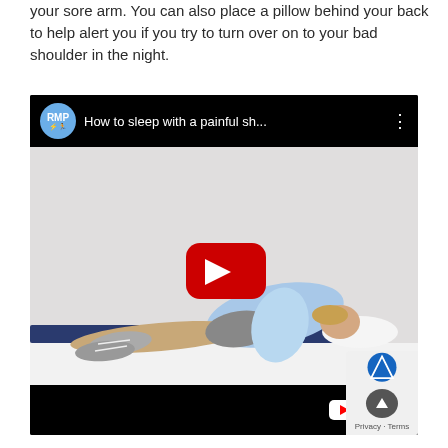your sore arm. You can also place a pillow behind your back to help alert you if you try to turn over on to your bad shoulder in the night.
[Figure (screenshot): YouTube video thumbnail showing 'How to sleep with a painful sh...' with an RMP channel icon. The video shows a person lying on their side on a mat, hugging a pillow, with a YouTube play button overlay. The bottom bar shows the YouTube logo.]